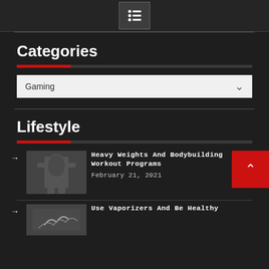Menu icon / navigation header
Categories
Gaming (dropdown)
Lifestyle
Heavy Weights And Bodybuilding Workout Programs
February 21, 2021
Use Vaporizers And Be Healthy